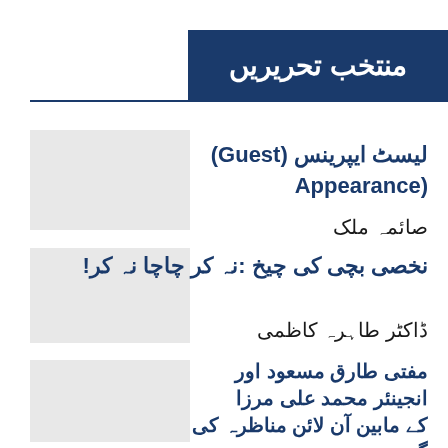منتخب تحریریں
لیسٹ ایپرینس (Guest) (Appearance
صائمہ ملک
نخصی بچی کی چیخ :نہ کر چاچا نہ کر!
ڈاکٹر طاہرہ کاظمی
مفتی طارق مسعود اور انجینئر محمد علی مرزا کے مابین آن لائن مناظرہ کی گونج